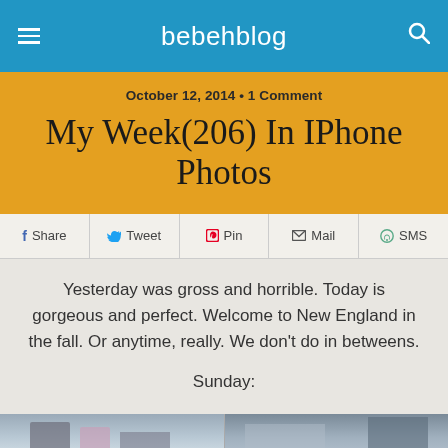bebehblog
My Week(206) In IPhone Photos
October 12, 2014 • 1 Comment
Yesterday was gross and horrible. Today is gorgeous and perfect. Welcome to New England in the fall. Or anytime, really. We don't do in betweens.
Sunday:
[Figure (photo): Partial photo strip at the bottom of the page showing outdoor scene with people, split into two photo panels]